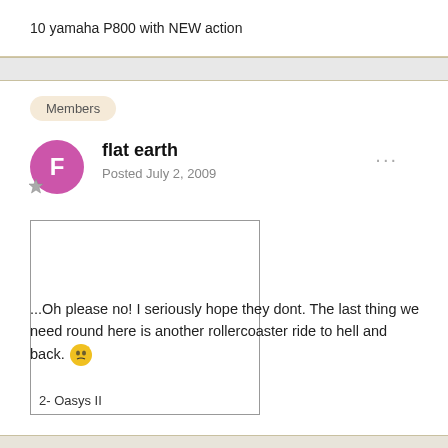10 yamaha P800 with NEW action
Members
flat earth
Posted July 2, 2009
[Figure (other): Empty bordered image box with caption '2- Oasys II']
2- Oasys II
...Oh please no! I seriously hope they dont. The last thing we need round here is another rollercoaster ride to hell and back.